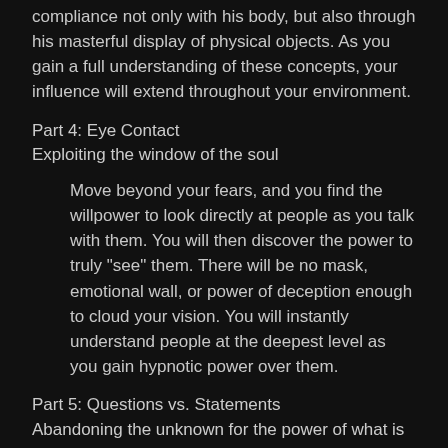compliance not only with his body, but also through his masterful display of physical objects. As you gain a full understanding of these concepts, your influence will extend throughout your environment.
Part 4: Eye Contact
Exploiting the window of the soul
Move beyond your fears, and you find the willpower to look directly at people as you talk with them. You will then discover the power to truly "see" them. There will be no mask, emotional wall, or power of deception enough to cloud your vision. You will instantly understand people at the deepest level as you gain hypnotic power over them.
Part 5: Questions vs. Statements
Abandoning the unknown for the power of what is
The masses, being weak and confused, search for